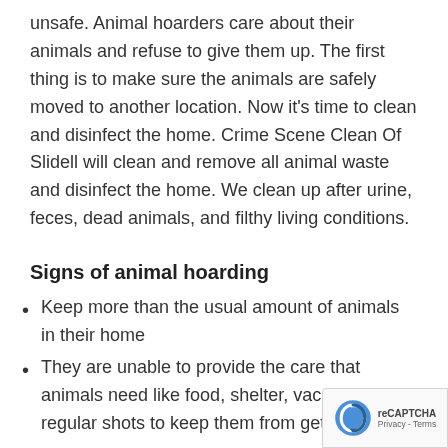unsafe. Animal hoarders care about their animals and refuse to give them up. The first thing is to make sure the animals are safely moved to another location. Now it's time to clean and disinfect the home. Crime Scene Clean Of Slidell will clean and remove all animal waste and disinfect the home. We clean up after urine, feces, dead animals, and filthy living conditions.
Signs of animal hoarding
Keep more than the usual amount of animals in their home
They are unable to provide the care that animals need like food, shelter, vaccines, and regular shots to keep them from getting sick
The animal hoarder is in denial of their situation and doesn't acknowledge that there is a problem with